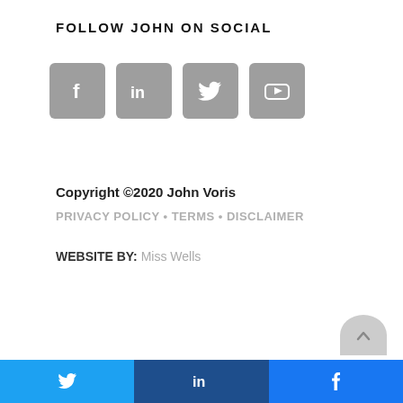FOLLOW JOHN ON SOCIAL
[Figure (infographic): Four social media icon buttons (Facebook, LinkedIn, Twitter, YouTube) displayed as grey rounded square icons]
Copyright ©2020 John Voris
PRIVACY POLICY • TERMS • DISCLAIMER
WEBSITE BY: Miss Wells
[Figure (infographic): Share bar at bottom with Twitter, LinkedIn, and Facebook share buttons]